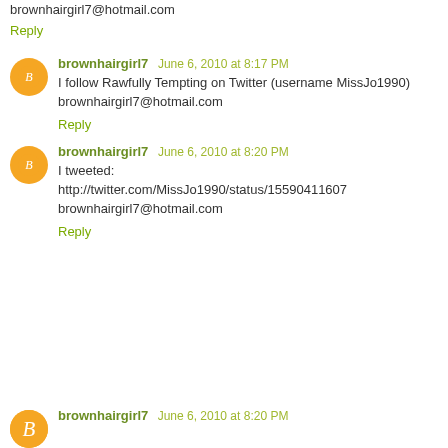brownhairgirl7@hotmail.com
Reply
brownhairgirl7  June 6, 2010 at 8:17 PM
I follow Rawfully Tempting on Twitter (username MissJo1990)
brownhairgirl7@hotmail.com
Reply
brownhairgirl7  June 6, 2010 at 8:20 PM
I tweeted:
http://twitter.com/MissJo1990/status/15590411607
brownhairgirl7@hotmail.com
Reply
brownhairgirl7  June 6, 2010 at 8:20 PM